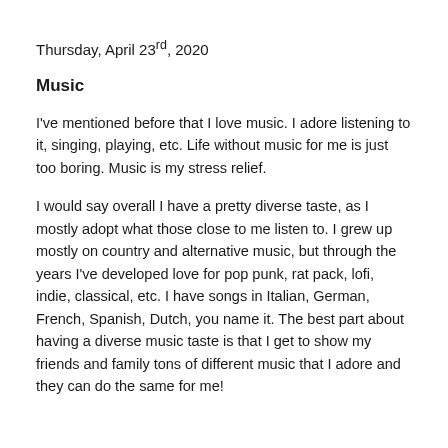Thursday, April 23rd, 2020
Music
I've mentioned before that I love music. I adore listening to it, singing, playing, etc. Life without music for me is just too boring. Music is my stress relief.
I would say overall I have a pretty diverse taste, as I mostly adopt what those close to me listen to. I grew up mostly on country and alternative music, but through the years I've developed love for pop punk, rat pack, lofi, indie, classical, etc. I have songs in Italian, German, French, Spanish, Dutch, you name it. The best part about having a diverse music taste is that I get to show my friends and family tons of different music that I adore and they can do the same for me!